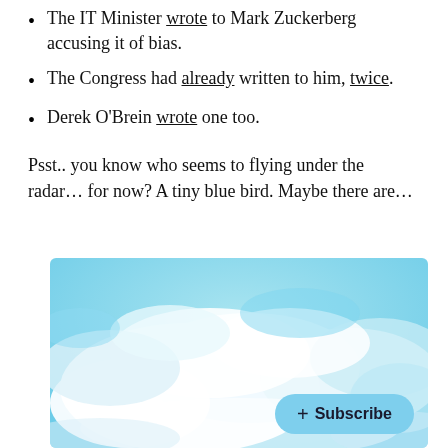The IT Minister wrote to Mark Zuckerberg accusing it of bias.
The Congress had already written to him, twice.
Derek O'Brein wrote one too.
Psst.. you know who seems to flying under the radar… for now? A tiny blue bird. Maybe there are…
[Figure (photo): Aerial photo of white clouds against a blue sky, taken from above. A light blue 'Subscribe' button with a plus sign overlays the bottom-right of the image.]